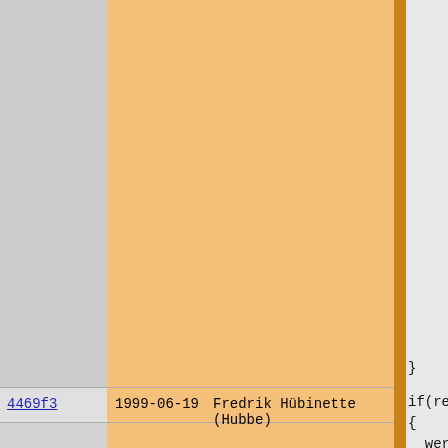| hash | date | author | code |
| --- | --- | --- | --- |
| 4469f3 | 1999-06-19 | Fredrik Hübinette (Hubbe) | } |
| 4469f3 | 1999-06-19 | Fredrik Hübinette (Hubbe) | if(ret)
{
  werror("CL
  exit(ret);
}

if(wantfile)
{
  if(!file_s
  { |
| 7aeb53 | 2000-01-09 | Fredrik Hübinette (Hubbe) | werror(" |
| 4469f3 | 1999-06-19 | Fredrik Hübinette (Hubbe) | exit(1);
  }
}

if(target=="
{ |